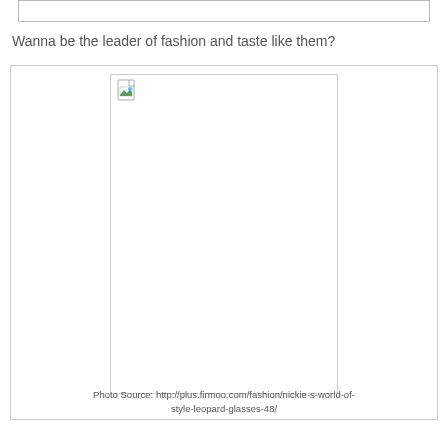Wanna be the leader of fashion and taste like them?
[Figure (photo): Broken/missing image placeholder within a bordered container, showing a small broken image icon in the top-left corner]
Photo Source: http://plus.firmoo.com/fashion/nickie-s-world-of-style-leopard-glasses-48/